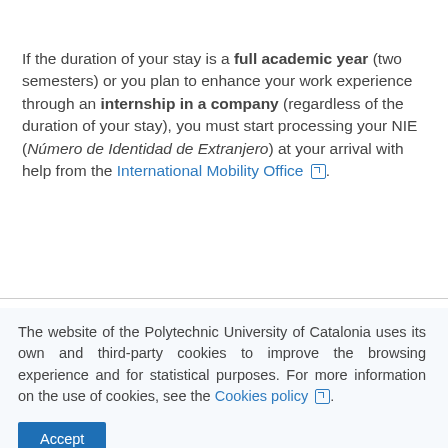If the duration of your stay is a full academic year (two semesters) or you plan to enhance your work experience through an internship in a company (regardless of the duration of your stay), you must start processing your NIE (Número de Identidad de Extranjero) at your arrival with help from the International Mobility Office.
The website of the Polytechnic University of Catalonia uses its own and third-party cookies to improve the browsing experience and for statistical purposes. For more information on the use of cookies, see the Cookies policy.
Accept